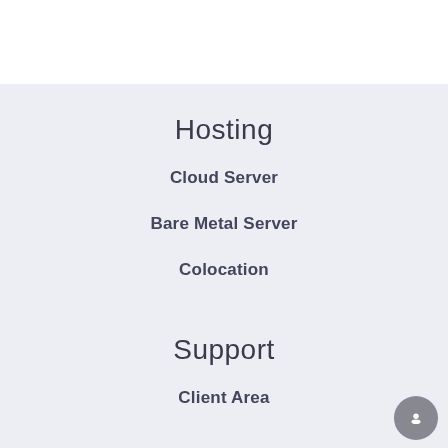Hosting
Cloud Server
Bare Metal Server
Colocation
Support
Client Area